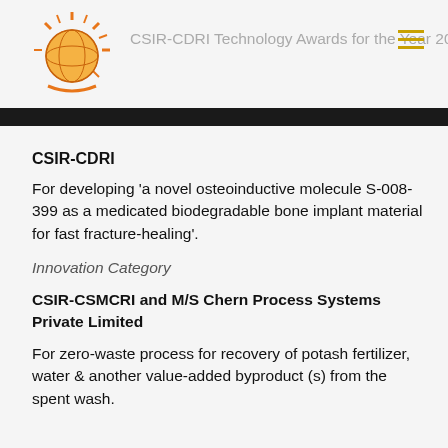[Figure (logo): CSIR-CDRI orange globe with sun rays logo]
CSIR-CDRI Technology Awards for the Year 2019
CSIR-CDRI
For developing 'a novel osteoinductive molecule S-008-399 as a medicated biodegradable bone implant material for fast fracture-healing'.
Innovation Category
CSIR-CSMCRI and M/S Chern Process Systems Private Limited
For zero-waste process for recovery of potash fertilizer, water & another value-added byproduct (s) from the spent wash.